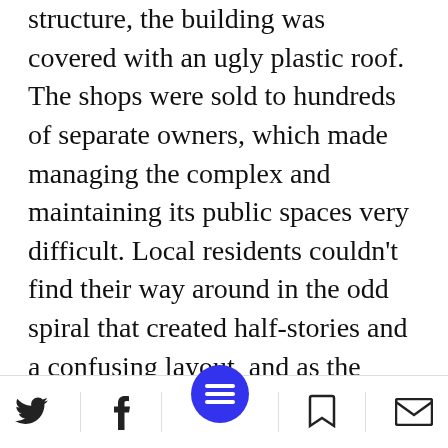structure, the building was covered with an ugly plastic roof. The shops were sold to hundreds of separate owners, which made managing the complex and maintaining its public spaces very difficult. Local residents couldn't find their way around in the odd spiral that created half-stories and a confusing layout, and as the years went by the building fell into disrepair; the businesses were replaced by the offices of manpower companies and importers of foreign workers.
The air quality-monitoring station located in the building broke national records for